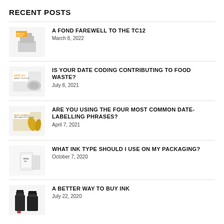RECENT POSTS
A FOND FAREWELL TO THE TC12
March 8, 2022
IS YOUR DATE CODING CONTRIBUTING TO FOOD WASTE?
July 8, 2021
ARE YOU USING THE FOUR MOST COMMON DATE-LABELLING PHRASES?
April 7, 2021
WHAT INK TYPE SHOULD I USE ON MY PACKAGING?
October 7, 2020
A BETTER WAY TO BUY INK
July 22, 2020